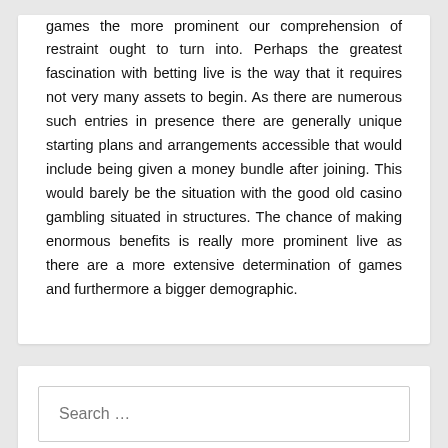games the more prominent our comprehension of restraint ought to turn into. Perhaps the greatest fascination with betting live is the way that it requires not very many assets to begin. As there are numerous such entries in presence there are generally unique starting plans and arrangements accessible that would include being given a money bundle after joining. This would barely be the situation with the good old casino gambling situated in structures. The chance of making enormous benefits is really more prominent live as there are a more extensive determination of games and furthermore a bigger demographic.
[Figure (screenshot): Search input box with placeholder text 'Search ...']
Recent Posts